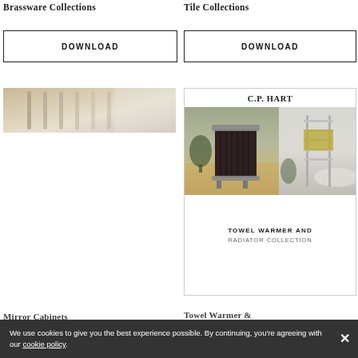Brassware Collections
Tile Collections
DOWNLOAD
DOWNLOAD
[Figure (photo): Partial photo of bathroom fittings with warm beige and grey tones, showing vertical radiator or rail elements]
[Figure (photo): C.P. Hart catalog card for Towel Warmer and Radiator Collection, showing a dark column radiator on herringbone floor on the left, and a chrome towel warmer rack with yellow towel on the right]
Mirror Cabinets
Towel Warmer & Radiator Collection
We use cookies to give you the best experience possible. By continuing, you're agreeing with our cookie policy.